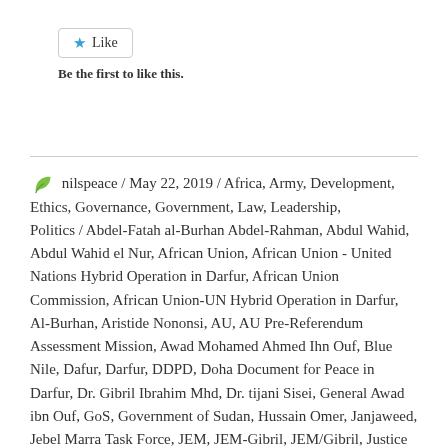[Figure (other): Like button widget with star icon and 'Like' text, followed by 'Be the first to like this.' text below]
nilspeace / May 22, 2019 / Africa, Army, Development, Ethics, Governance, Government, Law, Leadership, Politics / Abdel-Fatah al-Burhan Abdel-Rahman, Abdul Wahid, Abdul Wahid el Nur, African Union, African Union - United Nations Hybrid Operation in Darfur, African Union Commission, African Union-UN Hybrid Operation in Darfur, Al-Burhan, Aristide Nononsi, AU, AU Pre-Referendum Assessment Mission, Awad Mohamed Ahmed Ihn Ouf, Blue Nile, Dafur, Darfur, DDPD, Doha Document for Peace in Darfur, Dr. Gibril Ibrahim Mhd, Dr. tijani Sisei, General Awad ibn Ouf, GoS, Government of Sudan, Hussain Omer, Janjaweed, Jebel Marra Task Force, JEM, JEM-Gibril, JEM/Gibril, Justice and Equality Movement/Gibril, Kingsley Mamabolo, LJM, Mahmoud Hussain Omer, Malik Agar Aire, Minni Arko Minnawi,